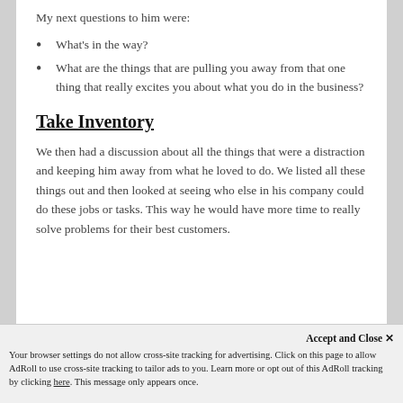My next questions to him were:
What's in the way?
What are the things that are pulling you away from that one thing that really excites you about what you do in the business?
Take Inventory
We then had a discussion about all the things that were a distraction and keeping him away from what he loved to do. We listed all these things out and then looked at seeing who else in his company could do these jobs or tasks. This way he would have more time to really solve problems for their best customers.
Accept and Close ✕
Your browser settings do not allow cross-site tracking for advertising. Click on this page to allow AdRoll to use cross-site tracking to tailor ads to you. Learn more or opt out of this AdRoll tracking by clicking here. This message only appears once.